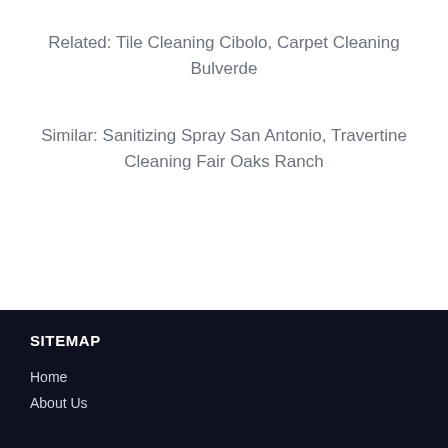Related: Tile Cleaning Cibolo, Carpet Cleaning Bulverde
Similar: Sanitizing Spray San Antonio, Travertine Cleaning Fair Oaks Ranch
SITEMAP
Home
About Us